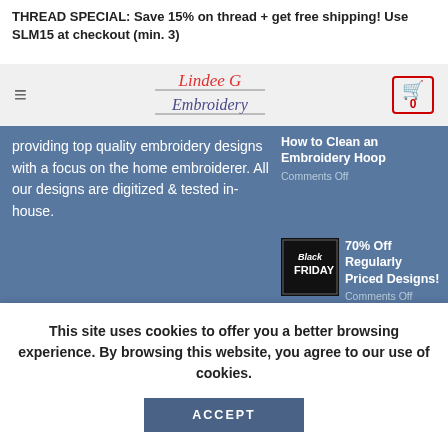THREAD SPECIAL: Save 15% on thread + get free shipping! Use SLM15 at checkout (min. 3)
[Figure (logo): Lindee G Embroidery cursive logo in red and gray]
providing top quality embroidery designs with a focus on the home embroiderer. All our designs are digitized & tested in-house.
[Figure (illustration): Social media icon circles: Facebook, Instagram, Pinterest, RSS, YouTube]
How to Clean an Embroidery Hoop
Comments Off
[Figure (photo): Black Friday sale graphic with text 'Black Friday']
70% Off Regularly Priced Designs!
Comments Off
[Figure (photo): ITH mini stockings embroidery photo]
How to Stitch ITH Mini Stockings in Your Embroidery Machine
Comments Off
This site uses cookies to offer you a better browsing experience. By browsing this website, you agree to our use of cookies.
ACCEPT